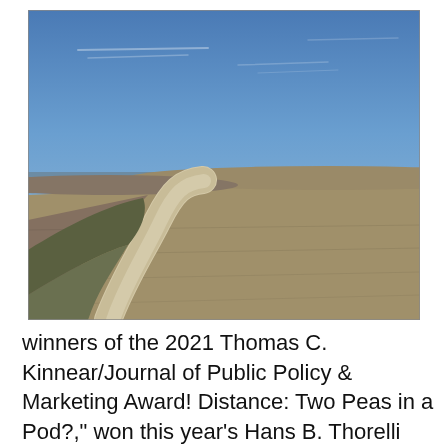[Figure (photo): A winding dirt/gravel road through a flat agricultural field under a blue sky with light clouds.]
winners of the 2021 Thomas C. Kinnear/Journal of Public Policy & Marketing Award! Distance: Two Peas in a Pod?," won this year's Hans B. Thorelli Award! Hans B. Thorelli. Examines and reviews the roles of the principal types of consumer information